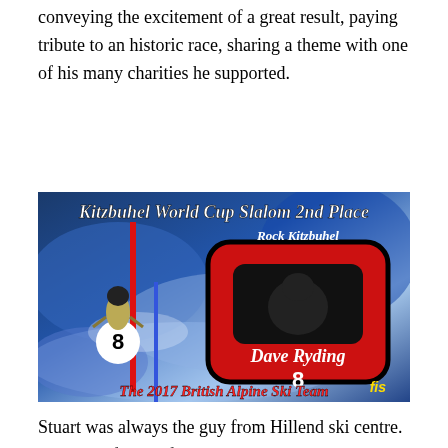conveying the excitement of a great result, paying tribute to an historic race, sharing a theme with one of his many charities he supported.
[Figure (photo): A colorful ski racing image showing a skier with bib number 8 on the left, and on the right a large red ski gondola/lift car with text 'Rock Kitzbuhel', 'Dave Ryding', '8'. At the top: 'Kitzbuhel World Cup Slalom 2nd Place'. At the bottom: 'The 2017 British Alpine Ski Team'. Blue swirling background.]
Stuart was always the guy from Hillend ski centre. When the facility fell on rough times in 2010, a project launched through Facebook attracted 26,000 members along with